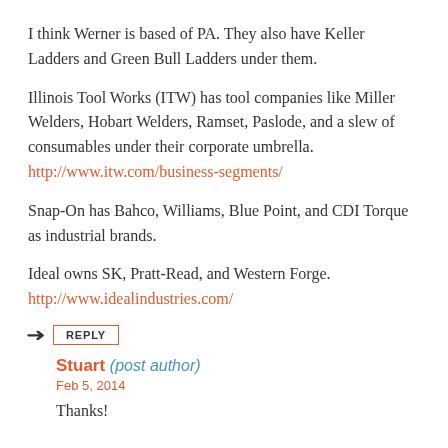I think Werner is based of PA. They also have Keller Ladders and Green Bull Ladders under them.
Illinois Tool Works (ITW) has tool companies like Miller Welders, Hobart Welders, Ramset, Paslode, and a slew of consumables under their corporate umbrella. http://www.itw.com/business-segments/
Snap-On has Bahco, Williams, Blue Point, and CDI Torque as industrial brands.
Ideal owns SK, Pratt-Read, and Western Forge. http://www.idealindustries.com/
REPLY
Stuart (post author)
Feb 5, 2014
Thanks!